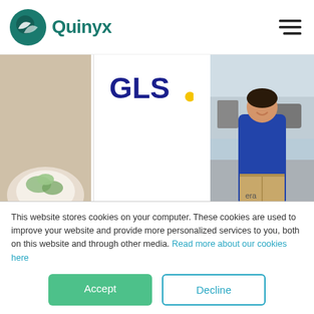[Figure (logo): Quinyx logo — teal circular icon with white swoosh shapes, followed by bold teal text 'Quinyx']
[Figure (illustration): Hamburger menu icon — three horizontal dark lines, top-right corner]
[Figure (photo): Partial left card showing a hand holding food on a plate, beige/warm tones]
[Figure (logo): GLS logo in bold dark blue text with a yellow dot: 'GLS.']
[Figure (photo): GLS delivery person in blue uniform holding a cardboard box, standing on a street]
GLS Germany chooses Quinyx for workforce
[Figure (photo): Partial right card showing a framed display or menu board, cropped]
Inc Inc
This website stores cookies on your computer. These cookies are used to improve your website and provide more personalized services to you, both on this website and through other media. Read more about our cookies here
Accept
Decline